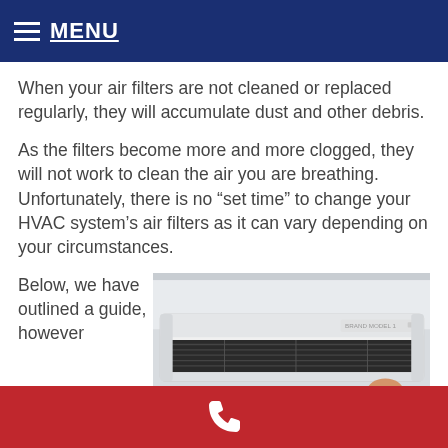MENU
When your air filters are not cleaned or replaced regularly, they will accumulate dust and other debris.
As the filters become more and more clogged, they will not work to clean the air you are breathing. Unfortunately, there is no “set time” to change your HVAC system’s air filters as it can vary depending on your circumstances.
Below, we have outlined a guide, however
[Figure (photo): Photo of an HVAC unit mounted on a wall with its front panel open showing internal filter components, a technician partially visible at the bottom right.]
Phone contact button